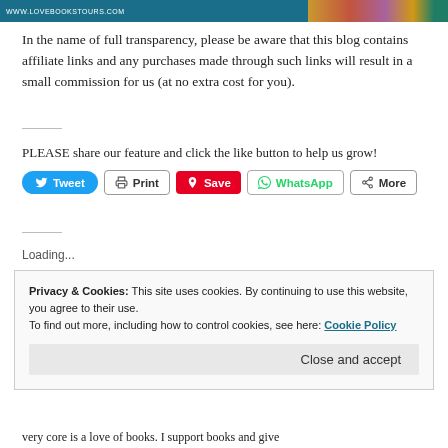[Figure (screenshot): Website header banner for www.lovebookstours.com with teal/blue background, white URL text on left, and colorful book cover images on right]
In the name of full transparency, please be aware that this blog contains affiliate links and any purchases made through such links will result in a small commission for us (at no extra cost for you).
PLEASE share our feature and click the like button to help us grow!
[Figure (screenshot): Social sharing buttons: Tweet (blue), Print (grey outline), Save (red Pinterest), WhatsApp (green outline), More (grey outline)]
Loading...
Privacy & Cookies: This site uses cookies. By continuing to use this website, you agree to their use.
To find out more, including how to control cookies, see here: Cookie Policy
Close and accept
very core is a love of books. I support books and give